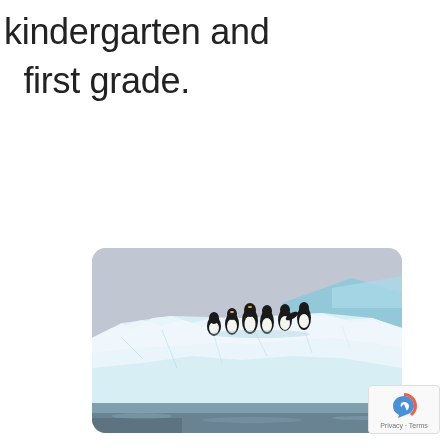kindergarten and first grade.
[Figure (photo): A group of penguins standing on a large blue-white iceberg with water in the background, set against a grey sky.]
Privacy · Terms